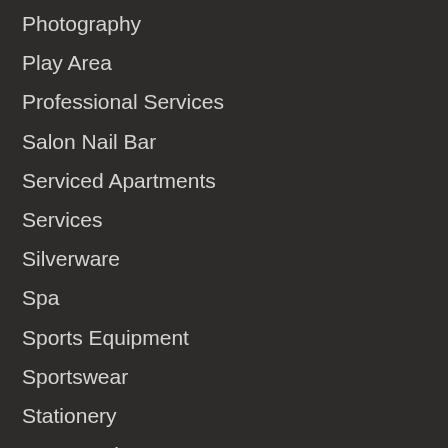Photography
Play Area
Professional Services
Salon Nail Bar
Serviced Apartments
Services
Silverware
Spa
Sports Equipment
Sportswear
Stationery
Supermarket
Tattoo Art
Toys
Travel Tourism